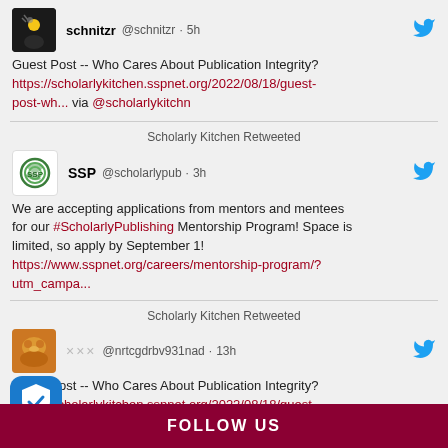schnitzr @schnitzr · 5h
Guest Post -- Who Cares About Publication Integrity?
https://scholarlykitchen.sspnet.org/2022/08/18/guest-post-wh... via @scholarlykitchn
Scholarly Kitchen Retweeted
SSP @scholarlypub · 3h
We are accepting applications from mentors and mentees for our #ScholarlyPublishing Mentorship Program! Space is limited, so apply by September 1!
https://www.sspnet.org/careers/mentorship-program/?utm_campa...
Scholarly Kitchen Retweeted
XXX @nrtcgdrbv931nad · 13h
Guest Post -- Who Cares About Publication Integrity?
https://scholarlykitchen.sspnet.org/2022/08/18/guest-post-wh... via @scholarlykitchn
FOLLOW US